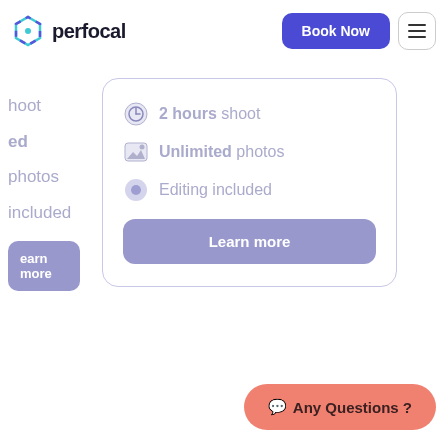[Figure (logo): Perfocal logo with hexagonal icon and wordmark]
Book Now
hoot
ed photos
included
earn more
2 hours shoot
Unlimited photos
Editing included
Learn more
💬 Any Questions ?